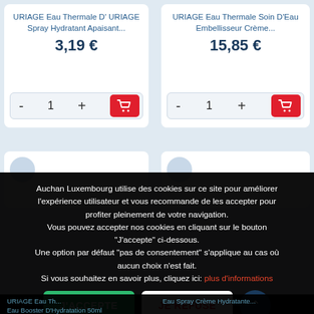URIAGE Eau Thermale D' URIAGE Spray Hydratant Apaisant...
3,19 €
URIAGE Eau Thermale Soin D'Eau Embellisseur Crème...
15,85 €
Auchan Luxembourg utilise des cookies sur ce site pour améliorer l'expérience utilisateur et vous recommande de les accepter pour profiter pleinement de votre navigation. Vous pouvez accepter nos cookies en cliquant sur le bouton "J'accepte" ci-dessous. Une option par défaut "pas de consentement" s'applique au cas où aucun choix n'est fait. Si vous souhaitez en savoir plus, cliquez ici: plus d'informations
J'ACCEPTE
JE REFUSE
URIAGE Eau Th... Eau Booster D'Hydratation 50ml
Eau Spray Crème Hydratante...